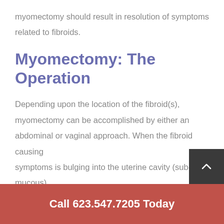myomectomy should result in resolution of symptoms related to fibroids.
Myomectomy: The Operation
Depending upon the location of the fibroid(s), myomectomy can be accomplished by either an abdominal or vaginal approach. When the fibroid causing symptoms is bulging into the uterine cavity (sub-mucous), it is usually possible to remove it by using a hysteroscopic technique. This technique involves using an operating
Call 623.547.7205 Today